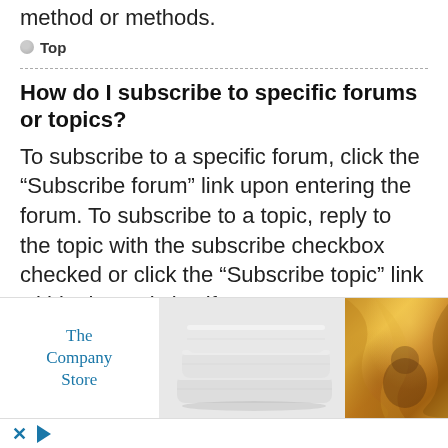method or methods.
Top
How do I subscribe to specific forums or topics?
To subscribe to a specific forum, click the “Subscribe forum” link upon entering the forum. To subscribe to a topic, reply to the topic with the subscribe checkbox checked or click the “Subscribe topic” link within the topic itself.
Top
[Figure (photo): Advertisement banner for The Company Store featuring stacked white pillows and golden fabric]